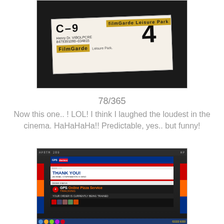[Figure (photo): Photo of a Filmgarde cinema ticket showing seat C-9 and the number 4, on a dark background]
78/365
Now this one.. ! LOL! I think I laughed the loudest in the cinema. HaHaHaHa!! Predictable, yes.. but funny!
[Figure (photo): Photo of a laptop screen showing a Domino's Pizza website with 'THANK YOU!' message and GPS Pizza tracking feature]